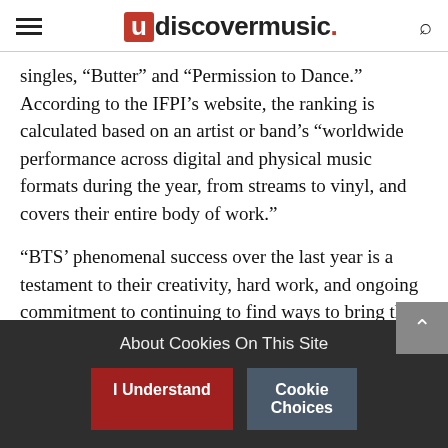udiscovermusic.
singles, “Butter” and “Permission to Dance.” According to the IFPI’s website, the ranking is calculated based on an artist or band’s “worldwide performance across digital and physical music formats during the year, from streams to vinyl, and covers their entire body of work.”
“BTS’ phenomenal success over the last year is a testament to their creativity, hard work, and ongoing commitment to continuing to find ways to bring their music to the world,” Frances Moore,
About Cookies On This Site
I Understand
Cookie Choices